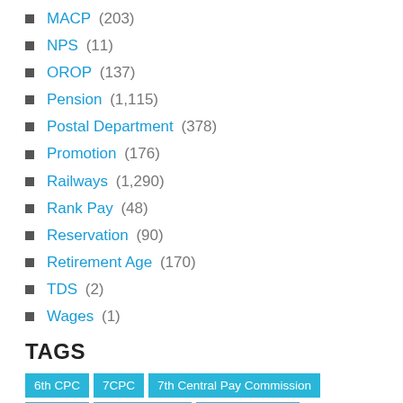MACP (203)
NPS (11)
OROP (137)
Pension (1,115)
Postal Department (378)
Promotion (176)
Railways (1,290)
Rank Pay (48)
Reservation (90)
Retirement Age (170)
TDS (2)
Wages (1)
TAGS
6th CPC  7CPC  7th Central Pay Commission  7th CPC  7th CPC News  7th CPC Report  7th Pay Commission  7th Pay Commission News  AICPIN  AIRF  All...